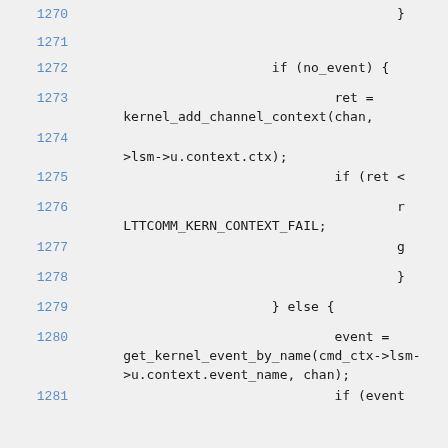Source code listing lines 1270-1281 showing kernel channel context and event handling logic in C
1270    }
1271
1272    if (no_event) {
1273    ret =
     kernel_add_channel_context(chan,
1274    >lsm->u.context.ctx);
1275    if (ret <
1276    r
     LTTCOMM_KERN_CONTEXT_FAIL;
1277    g
1278    }
1279    } else {
1280    event =
     get_kernel_event_by_name(cmd_ctx->lsm->u.context.event_name, chan);
1281    if (event